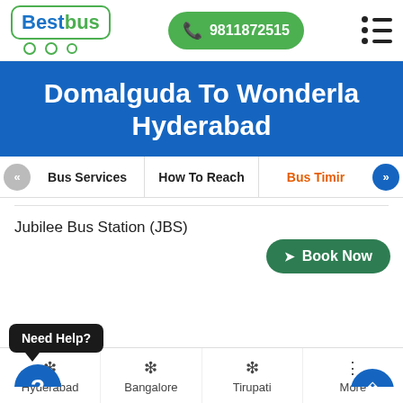BestBus | Phone: 9811872515
Domalguda To Wonderla Hyderabad
Bus Services | How To Reach | Bus Timir
Jubilee Bus Station (JBS)
Book Now
Lankatapool
Book Now
Need Help?
Hyderabad | Bangalore | Tirupati | More